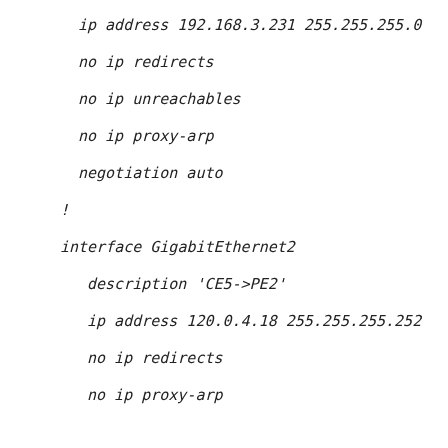ip address 192.168.3.231 255.255.255.0
no ip redirects
no ip unreachables
no ip proxy-arp
negotiation auto
!
interface GigabitEthernet2
description 'CE5->PE2'
ip address 120.0.4.18 255.255.255.252
no ip redirects
no ip proxy-arp